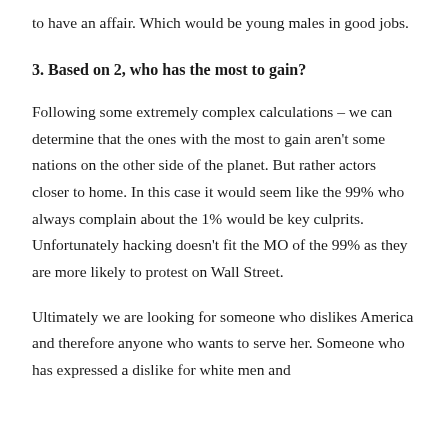to have an affair. Which would be young males in good jobs.
3. Based on 2, who has the most to gain?
Following some extremely complex calculations – we can determine that the ones with the most to gain aren't some nations on the other side of the planet. But rather actors closer to home. In this case it would seem like the 99% who always complain about the 1% would be key culprits. Unfortunately hacking doesn't fit the MO of the 99% as they are more likely to protest on Wall Street.
Ultimately we are looking for someone who dislikes America and therefore anyone who wants to serve her. Someone who has expressed a dislike for white men and